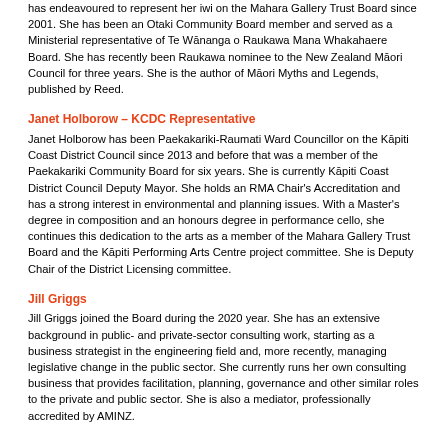has endeavoured to represent her iwi on the Mahara Gallery Trust Board since 2001. She has been an Otaki Community Board member and served as a Ministerial representative of Te Wānanga o Raukawa Mana Whakahaere Board. She has recently been Raukawa nominee to the New Zealand Māori Council for three years. She is the author of Māori Myths and Legends, published by Reed.
Janet Holborow – KCDC Representative
Janet Holborow has been Paekakariki-Raumati Ward Councillor on the Kāpiti Coast District Council since 2013 and before that was a member of the Paekakariki Community Board for six years. She is currently Kāpiti Coast District Council Deputy Mayor. She holds an RMA Chair's Accreditation and has a strong interest in environmental and planning issues. With a Master's degree in composition and an honours degree in performance cello, she continues this dedication to the arts as a member of the Mahara Gallery Trust Board and the Kāpiti Performing Arts Centre project committee. She is Deputy Chair of the District Licensing committee.
Jill Griggs
Jill Griggs joined the Board during the 2020 year. She has an extensive background in public- and private-sector consulting work, starting as a business strategist in the engineering field and, more recently, managing legislative change in the public sector. She currently runs her own consulting business that provides facilitation, planning, governance and other similar roles to the private and public sector. She is also a mediator, professionally accredited by AMINZ.